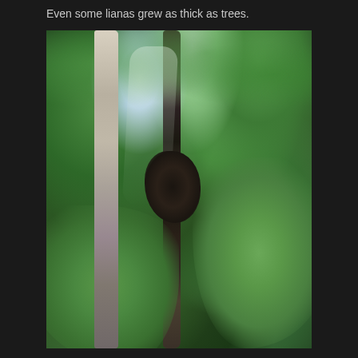Even some lianas grew as thick as trees.
[Figure (photo): Upward-looking photograph of a tropical rainforest showing a thick liana vine climbing a tree trunk, surrounded by dense green canopy foliage with light filtering through the leaves]